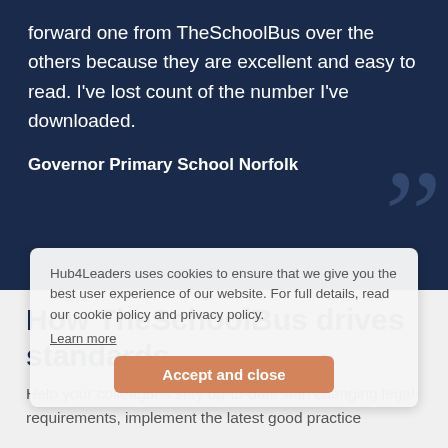forward one from TheSchoolBus over the others because they are excellent and easy to read. I've lost count of the number I've downloaded.
Governor Primary School Norfolk
[Figure (other): Large decorative closing quotation mark in dark navy, semi-transparent]
Hub4Leaders uses cookies to ensure that we give you the best user experience of our website. For full details, read our cookie policy and privacy policy.
Learn more
How TheSchoolBus drives standards
Accept and close
Help your colleagues stay up-to-date with changing legal requirements, implement the latest good practice